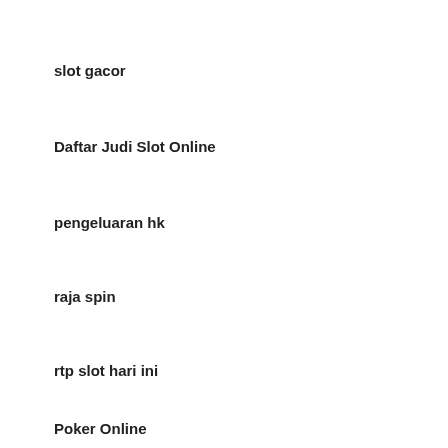slot gacor
Daftar Judi Slot Online
pengeluaran hk
raja spin
rtp slot hari ini
Poker Online
slot gacor